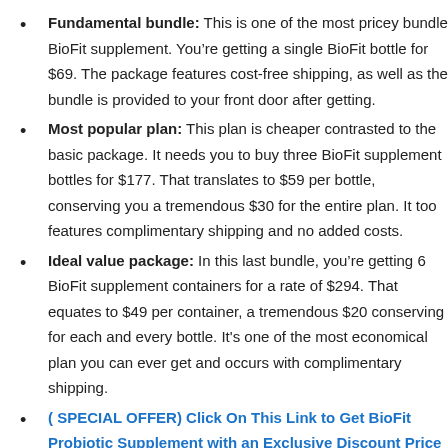Fundamental bundle: This is one of the most pricey bundle BioFit supplement. You’re getting a single BioFit bottle for $69. The package features cost-free shipping, as well as the bundle is provided to your front door after getting.
Most popular plan: This plan is cheaper contrasted to the basic package. It needs you to buy three BioFit supplement bottles for $177. That translates to $59 per bottle, conserving you a tremendous $30 for the entire plan. It too features complimentary shipping and no added costs.
Ideal value package: In this last bundle, you’re getting 6 BioFit supplement containers for a rate of $294. That equates to $49 per container, a tremendous $20 conserving for each and every bottle. It's one of the most economical plan you can ever get and occurs with complimentary shipping.
( SPECIAL OFFER) Click On This Link to Get BioFit Probiotic Supplement with an Exclusive Discount Price